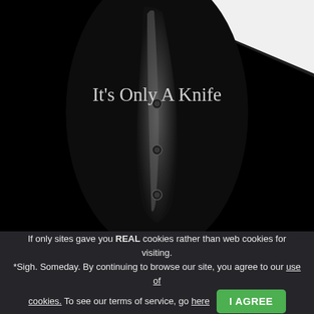[Figure (photo): Dark product photo of a knife blade shown vertically against a black background with three rivets visible. A white diagonal triangle appears in the upper-right corner. Text overlay reads 'It's Only A Knife'.]
It's Only A Knife
If only sites gave you REAL cookies rather than web cookies for visiting. *Sigh. Someday. By continuing to browse our site, you agree to our use of cookies. To see our terms of service, go here